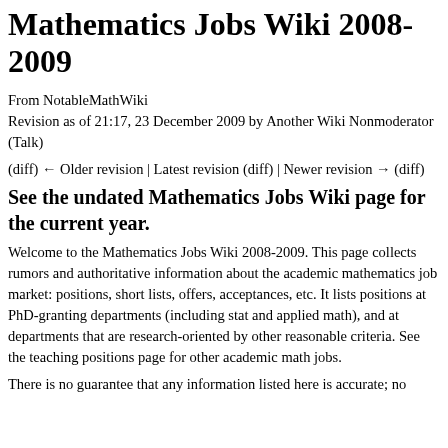Mathematics Jobs Wiki 2008-2009
From NotableMathWiki
Revision as of 21:17, 23 December 2009 by Another Wiki Nonmoderator (Talk)
(diff) ← Older revision | Latest revision (diff) | Newer revision → (diff)
See the undated Mathematics Jobs Wiki page for the current year.
Welcome to the Mathematics Jobs Wiki 2008-2009. This page collects rumors and authoritative information about the academic mathematics job market: positions, short lists, offers, acceptances, etc. It lists positions at PhD-granting departments (including stat and applied math), and at departments that are research-oriented by other reasonable criteria. See the teaching positions page for other academic math jobs.
There is no guarantee that any information listed here is accurate; no